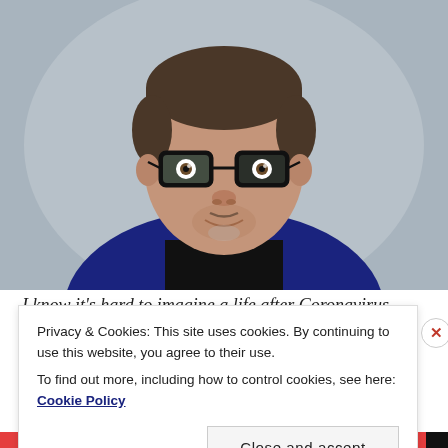[Figure (photo): Professional headshot of a middle-aged man with dark hair, black-rimmed glasses, wearing a black shirt and navy blazer, against a grey background.]
I know it's hard to imagine a life after Coronavirus
Privacy & Cookies: This site uses cookies. By continuing to use this website, you agree to their use.
To find out more, including how to control cookies, see here: Cookie Policy
Close and accept